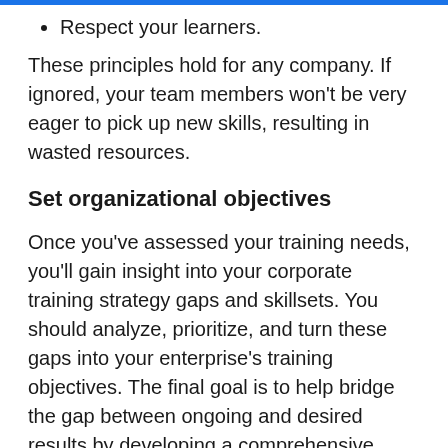Respect your learners.
These principles hold for any company. If ignored, your team members won't be very eager to pick up new skills, resulting in wasted resources.
Set organizational objectives
Once you've assessed your training needs, you'll gain insight into your corporate training strategy gaps and skillsets. You should analyze, prioritize, and turn these gaps into your enterprise's training objectives. The final goal is to help bridge the gap between ongoing and desired results by developing a comprehensive training course.